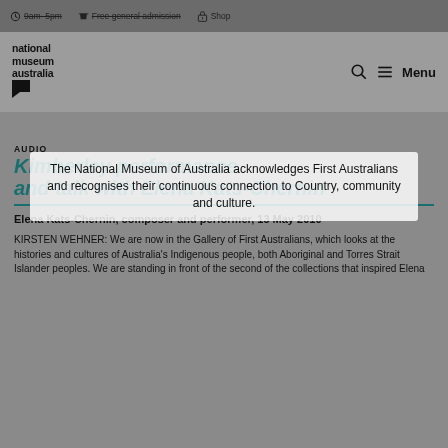9am–5pm   Free general admission   Shop
[Figure (logo): National Museum Australia logo with speech bubble tail]
AUDIO
Kimberley performance and talk with Elena Kats-Chernin
The National Museum of Australia acknowledges First Australians and recognises their continuous connection to Country, community and culture.
Elena Kats-Chernin, composer and performer, 13 May 2010
KIRSTEN WEHNER: We are now in the Gallery of First Australians, which looks at the histories and cultures of Australia's Indigenous people, both Aboriginal and Torres Strait Islander peoples. We are standing in front of the second of the collections that inspired Elena